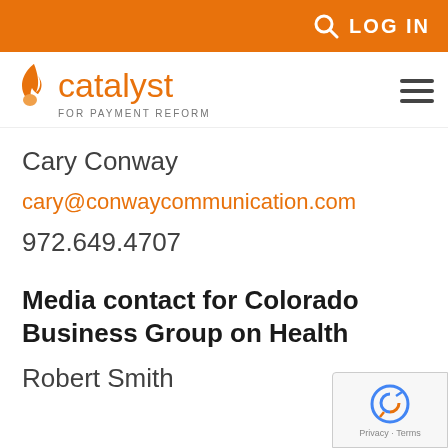LOG IN
[Figure (logo): Catalyst for Payment Reform logo with flame icon]
Cary Conway
cary@conwaycommunication.com
972.649.4707
Media contact for Colorado Business Group on Health
Robert Smith